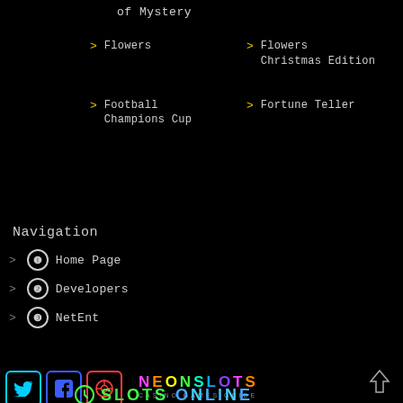of Mystery
Flowers
Flowers Christmas Edition
Football Champions Cup
Fortune Teller
Navigation
1 Home Page
2 Developers
3 NetEnt
[Figure (illustration): Rainbow neon light divider bar across full width]
[Figure (logo): Twitter icon in cyan border, Facebook icon in blue border, casino/games icon in red border, NEONSLOTS CASINO GAMES GUIDE logo in multicolor neon letters]
Sitemap
SLOTS ONLINE